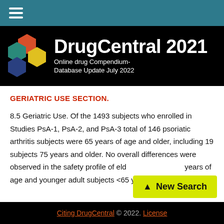DrugCentral 2021 — Online drug Compendium- Database Update July 2022
GERIATRIC USE SECTION.
8.5 Geriatric Use. Of the 1493 subjects who enrolled in Studies PsA-1, PsA-2, and PsA-3 total of 146 psoriatic arthritis subjects were 65 years of age and older, including 19 subjects 75 years and older. No overall differences were observed in the safety profile of eld... years of age and younger adult subjects <65 years of age
Citing DrugCentral © 2022. License